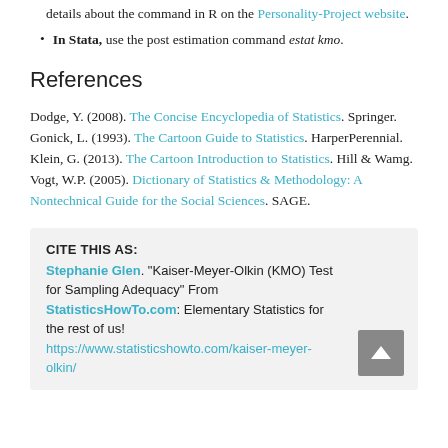details about the command in R on the Personality-Project website.
In Stata, use the post estimation command estat kmo.
References
Dodge, Y. (2008). The Concise Encyclopedia of Statistics. Springer.
Gonick, L. (1993). The Cartoon Guide to Statistics. HarperPerennial.
Klein, G. (2013). The Cartoon Introduction to Statistics. Hill & Wamg.
Vogt, W.P. (2005). Dictionary of Statistics & Methodology: A Nontechnical Guide for the Social Sciences. SAGE.
CITE THIS AS: Stephanie Glen. "Kaiser-Meyer-Olkin (KMO) Test for Sampling Adequacy" From StatisticsHowTo.com: Elementary Statistics for the rest of us! https://www.statisticshowto.com/kaiser-meyer-olkin/